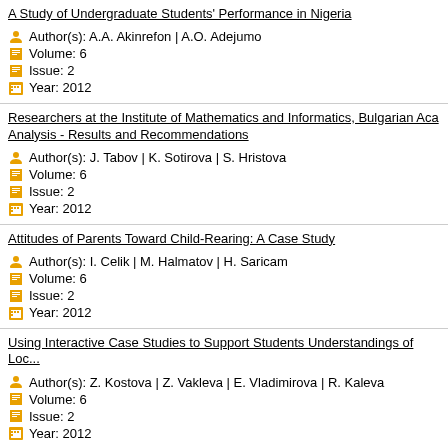A Study of Undergraduate Students' Performance in Nigeria
Author(s): A.A. Akinrefon | A.O. Adejumo
Volume: 6
Issue: 2
Year: 2012
Researchers at the Institute of Mathematics and Informatics, Bulgarian Academy - Analysis - Results and Recommendations
Author(s): J. Tabov | K. Sotirova | S. Hristova
Volume: 6
Issue: 2
Year: 2012
Attitudes of Parents Toward Child-Rearing: A Case Study
Author(s): I. Celik | M. Halmatov | H. Saricam
Volume: 6
Issue: 2
Year: 2012
Using Interactive Case Studies to Support Students Understandings of Local...
Author(s): Z. Kostova | Z. Vakleva | E. Vladimirova | R. Kaleva
Volume: 6
Issue: 2
Year: 2012
A Case Study: Key Competencies Integrating in Compulsory Elective Subjects...